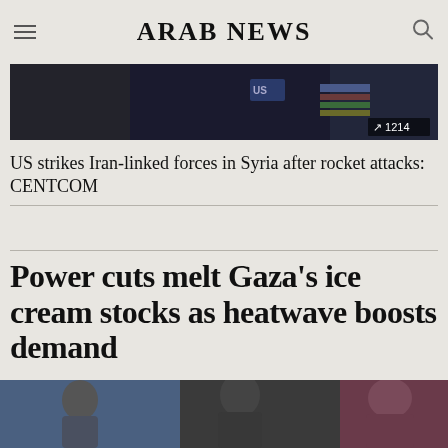ARAB NEWS
[Figure (photo): Military officer in uniform with medals, partially cropped. Trending badge showing 1214.]
US strikes Iran-linked forces in Syria after rocket attacks: CENTCOM
Power cuts melt Gaza's ice cream stocks as heatwave boosts demand
[Figure (photo): People in an outdoor scene, partially visible at bottom of page.]